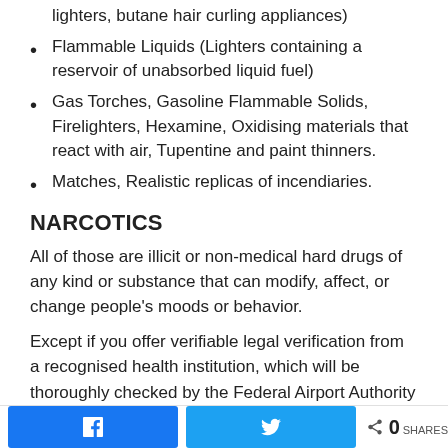lighters, butane hair curling appliances)
Flammable Liquids (Lighters containing a reservoir of unabsorbed liquid fuel)
Gas Torches, Gasoline Flammable Solids, Firelighters, Hexamine, Oxidising materials that react with air, Tupentine and paint thinners.
Matches, Realistic replicas of incendiaries.
NARCOTICS
All of those are illicit or non-medical hard drugs of any kind or substance that can modify, affect, or change people’s moods or behavior.
Except if you offer verifiable legal verification from a recognised health institution, which will be thoroughly checked by the Federal Airport Authority of Nigeria and
0 SHARES